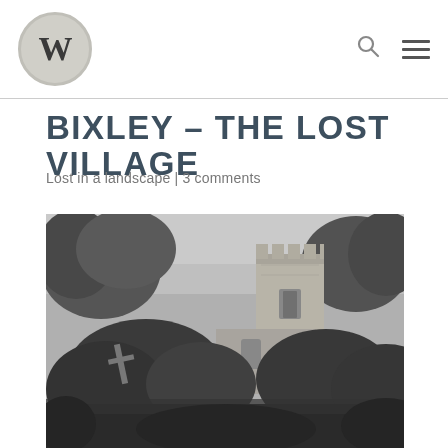W logo, search icon, menu icon
BIXLEY – THE LOST VILLAGE
Lost in a landscape | 3 comments
[Figure (photo): Black and white photograph of an old stone church tower partially obscured by trees and overgrown vegetation. A weathered cross gravestone is visible in the foreground left. The sky is overcast.]